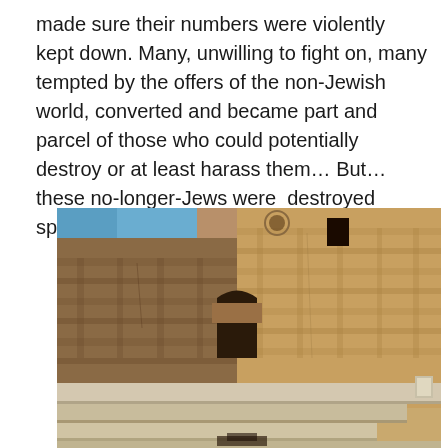made sure their numbers were violently kept down. Many, unwilling to fight on, many tempted by the offers of the non-Jewish world, converted and became part and parcel of those who could potentially destroy or at least harass them… But…  these no-longer-Jews were  destroyed spiritually, if not yet physically.
[Figure (photo): Photograph of ancient stone walls and steps, likely the Temple Mount or a similar ancient site in Jerusalem. Large stone blocks form towering walls with arched architectural details visible at the top. In the foreground, wide stone steps or terraces descend toward the viewer. Blue sky is visible in the upper left corner.]